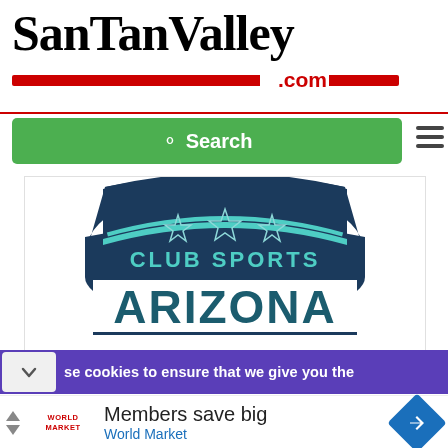SanTanValley.com
[Figure (screenshot): Green search bar with magnifying glass icon and 'Search' label, followed by hamburger menu icon]
[Figure (logo): Club Sports Arizona logo — dark navy badge shape with three stars, 'CLUB SPORTS' text in cyan, and 'ARIZONA' in large dark teal letters]
se cookies to ensure that we give you the
[Figure (screenshot): Advertisement: 'Members save big' / World Market — with World Market logo and navigation arrow icon]